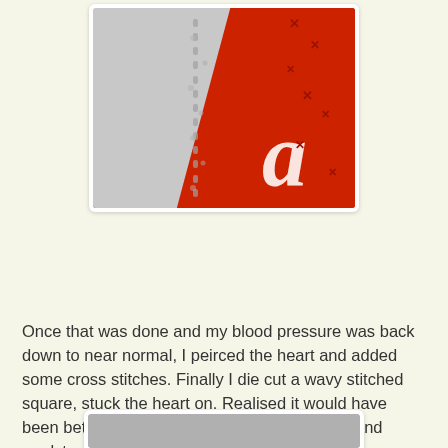[Figure (photo): Close-up photo of a crafting project: a red and silver/grey surface with white embossed lettering (appears to be part of a Coca-Cola can or similar), with cross stitches and dotted stitch lines visible on the silver portion.]
Once that was done and my blood pressure was back down to near normal, I peirced the heart and added some cross stitches. Finally I die cut a wavy stitched square, stuck the heart on. Realised it would have been better to cross stitch through both heart and cardstock.
[Figure (photo): Partial view of another crafting photo showing a grey/silver surface, partially visible at the bottom of the page.]